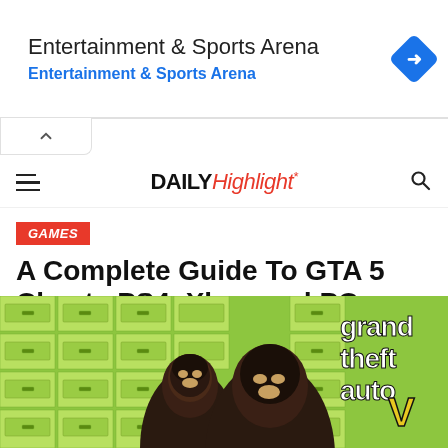[Figure (screenshot): Advertisement banner for Entertainment & Sports Arena with blue arrow diamond logo]
DAILY Highlight*
GAMES
A Complete Guide To GTA 5 Cheats PS4, Xbox and PC
Published 3 months ago on May 17, 2022
By Ava
[Figure (photo): GTA 5 game art showing two characters in ski masks with Grand Theft Auto V logo and green filing cabinets in background]